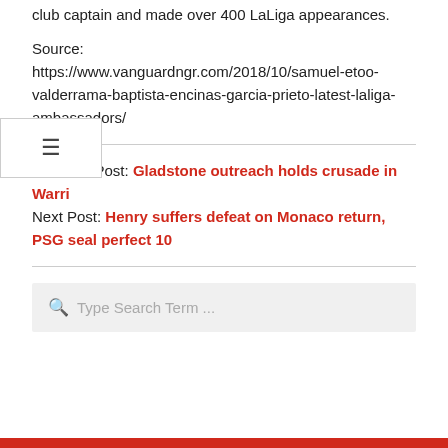club captain and made over 400 LaLiga appearances.
Source:
https://www.vanguardngr.com/2018/10/samuel-etoo-valderrama-baptista-encinas-garcia-prieto-latest-laliga-ambassadors/
Previous Post: Gladstone outreach holds crusade in Warri
Next Post: Henry suffers defeat on Monaco return, PSG seal perfect 10
Type Search Term ...